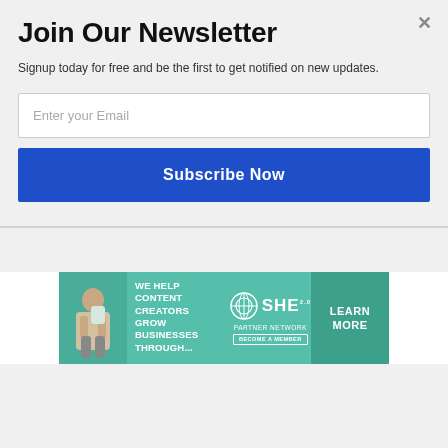Join Our Newsletter
Signup today for free and be the first to get notified on new updates.
[Figure (screenshot): Email input field with placeholder text 'Enter your Email']
[Figure (screenshot): Blue 'Subscribe Now' button]
[Figure (infographic): SHE Partner Network advertisement banner: 'We help content creators grow businesses through...' with a Learn More button]